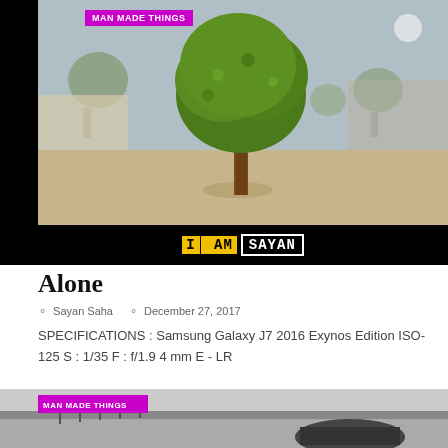[Figure (photo): Photograph of a miniature model tree standing alone on a sandy surface, with blurred background trees and structures. Blog header image with 'I AM SAYAN' logo bar at bottom.]
Alone
Sayan Saha   December 27, 2017
SPECIFICATIONS : Samsung Galaxy J7 2016 Exynos Edition ISO-125 S : 1/35 F : f/1.9 4 mm E - LR
[Figure (photo): Black and white photograph of an outdoor scene with a fence and vehicle, partially visible at bottom of page. Tagged 'MAN MADE THINGS'.]